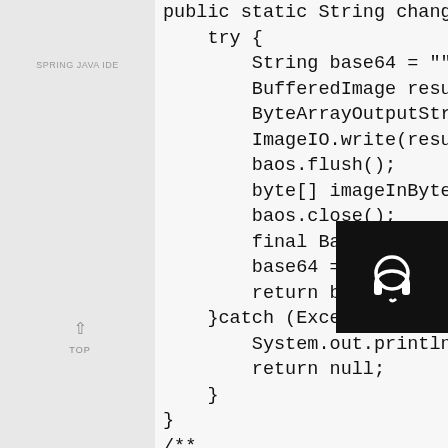[Figure (screenshot): Screenshot of a Java code editor showing a method with try-catch block, converting BufferedImage to Base64 string, and a Javadoc comment below. A sidebar with navigation is visible on the left, and a headset icon appears in the lower right.]